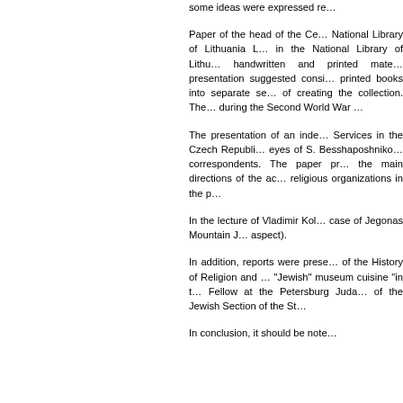some ideas were expressed re…
Paper of the head of the Ce… National Library of Lithuania L… in the National Library of Lithu… handwritten and printed mate… presentation suggested consi… printed books into separate se… of creating the collection. The… during the Second World War …
The presentation of an inde… Services in the Czech Republi… eyes of S. Besshaposhniko… correspondents. The paper pr… the main directions of the ac… religious organizations in the p…
In the lecture of Vladimir Kol… case of Jegonas Mountain J… aspect).
In addition, reports were prese… of the History of Religion and … "Jewish" museum cuisine "in t… Fellow at the Petersburg Juda… of the Jewish Section of the St…
In conclusion, it should be note…